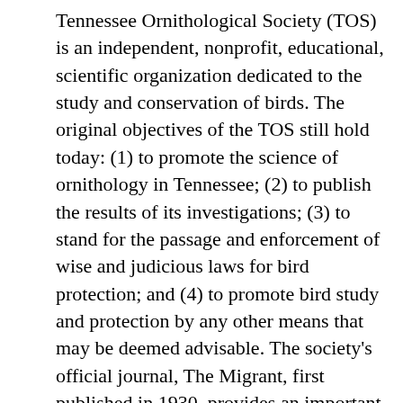Tennessee Ornithological Society (TOS) is an independent, nonprofit, educational, scientific organization dedicated to the study and conservation of birds. The original objectives of the TOS still hold today: (1) to promote the science of ornithology in Tennessee; (2) to publish the results of its investigations; (3) to stand for the passage and enforcement of wise and judicious laws for bird protection; and (4) to promote bird study and protection by any other means that may be deemed advisable. The society's official journal, The Migrant, first published in 1930, provides an important repository of sight records and articles to facilitate the tracking of changes in Tennessee bird populations. The Tennessee Warbler is the statewide TOS newsletter. In 1933 the TOS received widespread attention through its campaign to select a state bird (the Mockingbird), which took place through an open election. Current activities